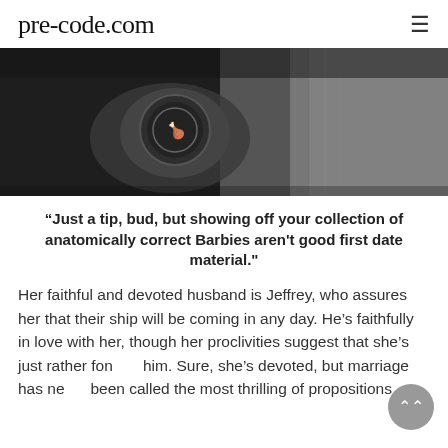pre-code.com
[Figure (photo): Black and white photo showing hands holding an ornate circular object, with a sparkly/sequined fabric visible on the right side.]
“Just a tip, bud, but showing off your collection of anatomically correct Barbies aren't good first date material."
Her faithful and devoted husband is Jeffrey, who assures her that their ship will be coming in any day. He’s faithfully in love with her, though her proclivities suggest that she’s just rather fond of him. Sure, she’s devoted, but marriage has never been called the most thrilling of propositions